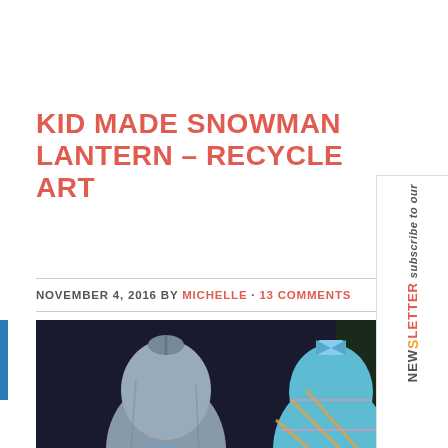KID MADE SNOWMAN LANTERN – RECYCLE ART
NOVEMBER 4, 2016 BY MICHELLE · 13 COMMENTS
[Figure (photo): Photo of three snowman lanterns made from fabric/cloth tied at the top, sitting on white snowman-shaped bases with LED lights inside, against a dark background. Left one is plain grey/blue, center has colorful diamond pattern, right has floral pattern.]
subscribe to our NEWSLETTER